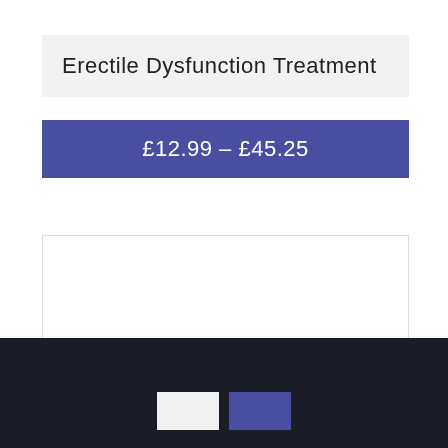Erectile Dysfunction Treatment
£12.99 – £45.25
[Figure (other): White content card/panel area, empty]
Dark footer with two buttons: a white/light button and a blue button